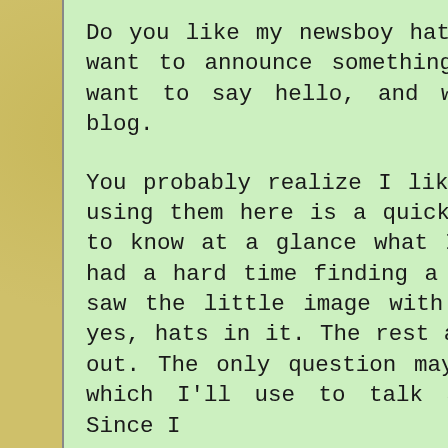Do you like my newsboy hat? You'll see it whenever I want to announce something . . . new. Right now, I want to say hello, and welcome to my website and blog.
You probably realize I like hats. I figured out that using them here is a quick and easy way for visitors to know at a glance what I'm going to talk about. I had a hard time finding a hat for organization, then saw the little image with an organized closet with, yes, hats in it. The rest are, I hope, easy to figure out. The only question may be about the gray fedora which I'll use to talk about writing in general. Since I